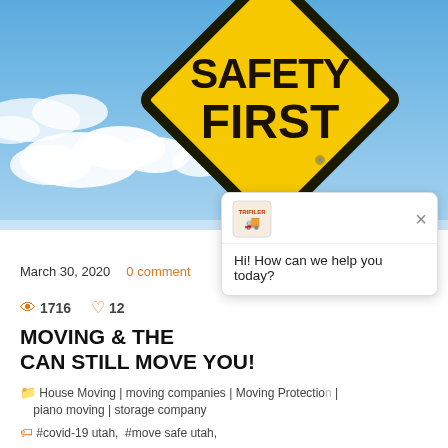[Figure (photo): Yellow diamond-shaped SAFETY FIRST road sign against blue sky with clouds]
March 30, 2020   0 comment
👁 1716   ♡ 12
MOVING & THE... CAN STILL MOVE YOU!
House Moving | moving companies | Moving Protection | piano moving | storage company
#covid-19 utah,  #move safe utah,  #moving & coronavirus,  #moving & COVID-19